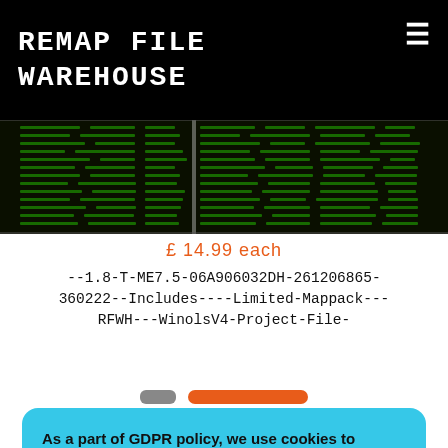Remap File Warehouse
[Figure (screenshot): Product image showing rows of data/code on a dark green background resembling a binary/hex dump or spreadsheet]
£ 14.99 each
--1.8-T-ME7.5-06A906032DH-261206865-360222--Includes----Limited-Mappack---RFWH---WinolsV4-Project-File-
As a part of GDPR policy, we use cookies to ensure that we give you the best experience on our website.